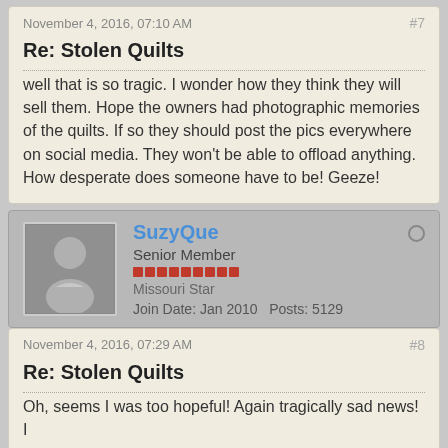November 4, 2016, 07:10 AM
#7
Re: Stolen Quilts
well that is so tragic. I wonder how they think they will sell them. Hope the owners had photographic memories of the quilts. If so they should post the pics everywhere on social media. They won't be able to offload anything. How desperate does someone have to be! Geeze!
SuzyQue
Senior Member
Missouri Star
Join Date: Jan 2010   Posts: 5129
November 4, 2016, 07:29 AM
#8
Re: Stolen Quilts
Oh, seems I was too hopeful! Again tragically sad news! I